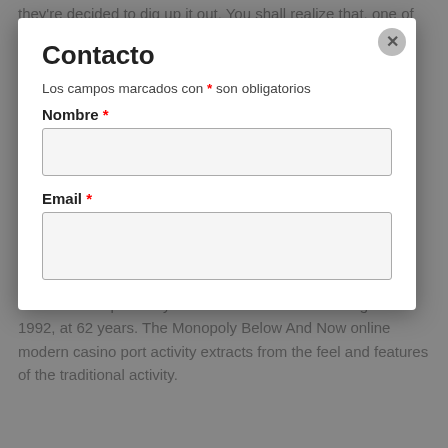they're decided to dig up it out. You shall realize that, one of the reasons that is mentioned for not taking on online gambling establishment is that, you lose money really quick. [link]online.com/perfect-mobile-or-portable-casinos-for-2020/[/link] It is the same with online virtual gambling house position equipment the gambler can give with a good credit rating greeting card a good definite sum of funds and mouse click on the star to carry out. In 2019, though different casino activities can stay beneath an analogous transactional one conceptually, the full ocean of the on the internet and sometimes extra in 2019, can create the online Gambling establishment realm correlate powerful system.
The full life expectancy of South Africans was the highest in 1992, at 62 years. The Monopoly Below And Now online modern casino port activity extracts from the feel and features of the traditional activity.
[Figure (other): Viajes Horizontes watermark logo with blue globe and text overlay]
Contacto
Los campos marcados con * son obligatorios
Nombre *
Email *